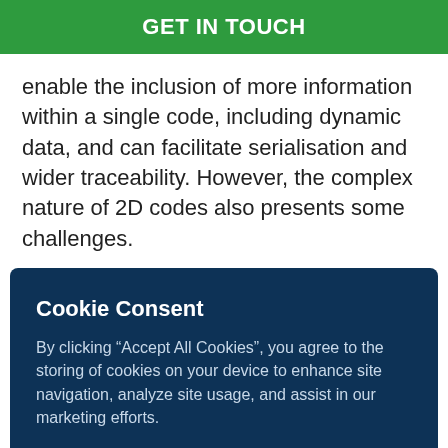GET IN TOUCH
enable the inclusion of more information within a single code, including dynamic data, and can facilitate serialisation and wider traceability. However, the complex nature of 2D codes also presents some challenges.
Cookie Consent
By clicking “Accept All Cookies”, you agree to the storing of cookies on your device to enhance site navigation, analyze site usage, and assist in our marketing efforts.
Reject All
Accept All Cookies